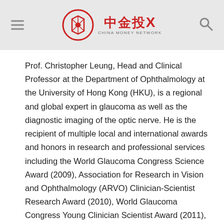China Money Network (中金投X)
Prof. Christopher Leung, Head and Clinical Professor at the Department of Ophthalmology at the University of Hong Kong (HKU), is a regional and global expert in glaucoma as well as the diagnostic imaging of the optic nerve. He is the recipient of multiple local and international awards and honors in research and professional services including the World Glaucoma Congress Science Award (2009), Association for Research in Vision and Ophthalmology (ARVO) Clinician-Scientist Research Award (2010), World Glaucoma Congress Young Clinician Scientist Award (2011), Asia Pacific Glaucoma Society Young Investigator Award (2012), American Academy of Ophthalmology Secretariat Award (2012), Stuart Brown Lecturer (2013), American Academy of Ophthalmology Senior Achievement Award (2015), World